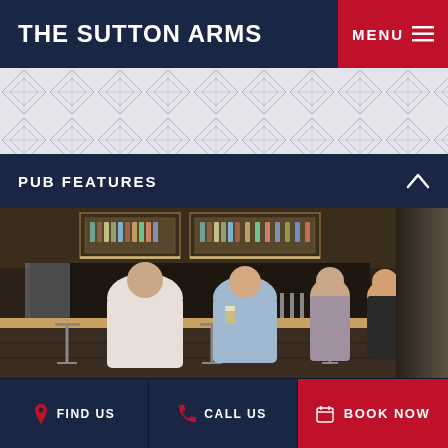THE SUTTON ARMS
MENU
[Figure (illustration): Decorative geometric diamond/triangle pattern on light grey background]
PUB FEATURES
[Figure (photo): Interior photo of The Sutton Arms pub bar area with people sitting at the bar counter. Modern bar with suspended shelving displaying bottles, warm lighting. Several patrons seated including two men in white shirts, a woman, and a bearded man in black.]
FIND US
CALL US
BOOK NOW